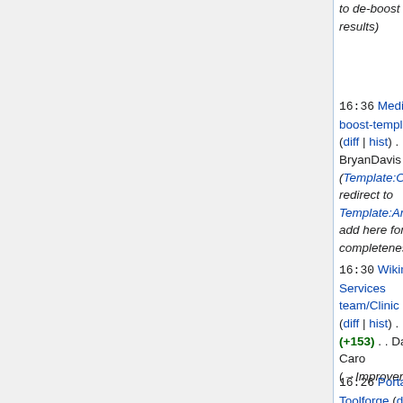to de-boost search results)
16:36 MediaWiki:Cirrussearch-boost-templates (diff | hist) . . (+21) BryanDavis (Template:Obsolete redirect to Template:Archive, add here for completeness)
16:30 Wikimedia Cloud Services team/Clinic duties (diff | hist) . . (+153) . . David Caro (→Improvements)
16:26 Portal:Toolforge/About Toolforge (diff | hist)